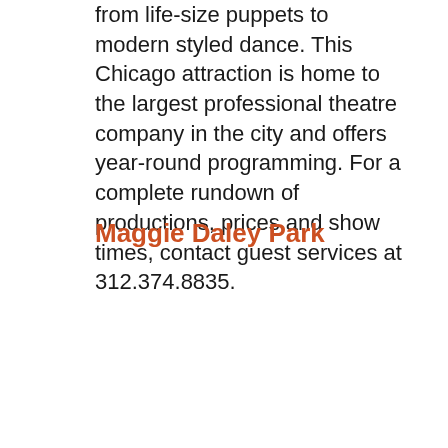from life-size puppets to modern styled dance. This Chicago attraction is home to the largest professional theatre company in the city and offers year-round programming. For a complete rundown of productions, prices and show times, contact guest services at 312.374.8835.
Maggie Daley Park